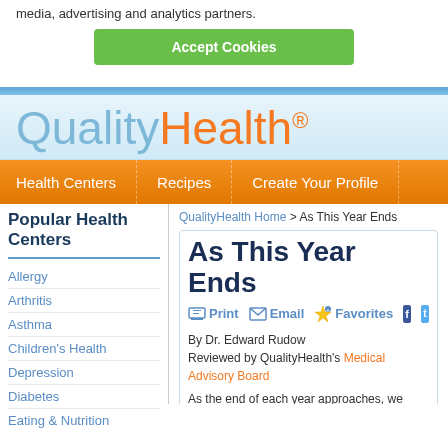media, advertising and analytics partners.
Accept Cookies
[Figure (logo): QualityHealth logo with Quality in blue and Health in orange]
Health Centers   Recipes   Create Your Profile
Popular Health Centers
QualityHealth Home > As This Year Ends
Allergy
Arthritis
Asthma
Children's Health
Depression
Diabetes
Eating & Nutrition
As This Year Ends
Print   Email   Favorites
By Dr. Edward Rudow
Reviewed by QualityHealth's Medical Advisory Board
As the end of each year approaches, we tend to wonder, Where did the time go? Many of my clien